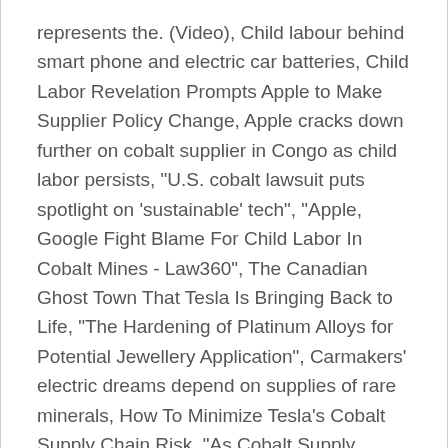represents the. (Video), Child labour behind smart phone and electric car batteries, Child Labor Revelation Prompts Apple to Make Supplier Policy Change, Apple cracks down further on cobalt supplier in Congo as child labor persists, "U.S. cobalt lawsuit puts spotlight on 'sustainable' tech", "Apple, Google Fight Blame For Child Labor In Cobalt Mines - Law360", The Canadian Ghost Town That Tesla Is Bringing Back to Life, "The Hardening of Platinum Alloys for Potential Jewellery Application", Carmakers' electric dreams depend on supplies of rare minerals, How To Minimize Tesla's Cobalt Supply Chain Risk, "As Cobalt Supply Tightens, LiCo Energy Metals Announces Two New Cobalt Mines", We May Not Have Enough Minerals To Even Meet Electric Car Demand, "State of Charge: EVs, Batteries and Battery Materials (Free Report from